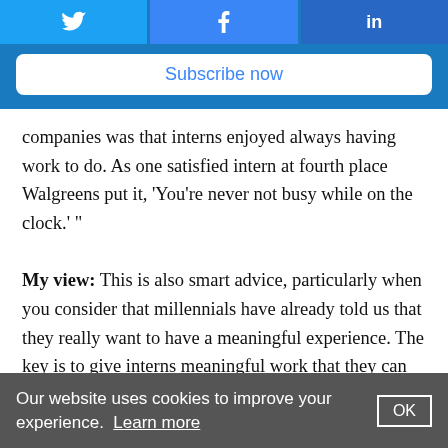[Figure (other): Social sharing buttons: Twitter (bird icon), Facebook (f icon), LinkedIn (in icon)]
Subscribe now
companies was that interns enjoyed always having work to do. As one satisfied intern at fourth place Walgreens put it, ‘You’re never not busy while on the clock.’ ”
My view: This is also smart advice, particularly when you consider that millennials have already told us that they really want to have a meaningful experience. The key is to give interns meaningful work that they can both succeed at and be proud of at the end of the internship.
Our website uses cookies to improve your experience. Learn more